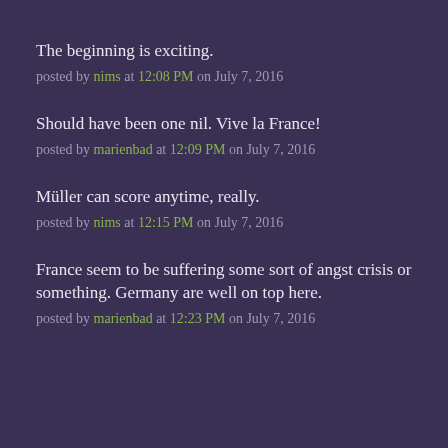The beginning is exciting.
posted by nims at 12:08 PM on July 7, 2016
Should have been one nil. Vive la France!
posted by marienbad at 12:09 PM on July 7, 2016
Müller can score anytime, really.
posted by nims at 12:15 PM on July 7, 2016
France seem to be suffering some sort of angst crisis or something. Germany are well on top here.
posted by marienbad at 12:23 PM on July 7, 2016